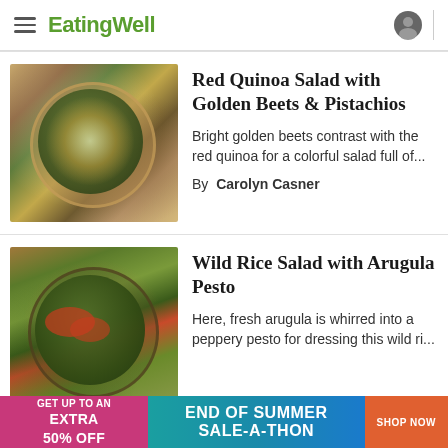EatingWell
Red Quinoa Salad with Golden Beets & Pistachios
Bright golden beets contrast with the red quinoa for a colorful salad full of...
By Carolyn Casner
Wild Rice Salad with Arugula Pesto
Here, fresh arugula is whirred into a peppery pesto for dressing this wild ri...
GET UP TO AN EXTRA 50% OFF END OF SUMMER SALE-A-THON SHOP NOW